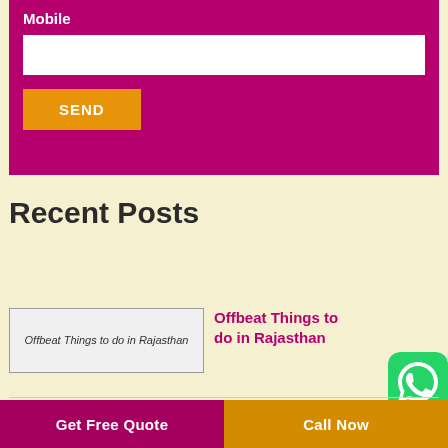Mobile
[Figure (screenshot): Mobile input text field (white rectangle) and SEND button (orange) on magenta/crimson background form section]
Recent Posts
[Figure (screenshot): Broken image placeholder for 'Offbeat Things to do in Rajasthan']
Offbeat Things to do in Rajasthan
[Figure (logo): WhatsApp green icon with speech bubble]
Get Free Quote
Call Now